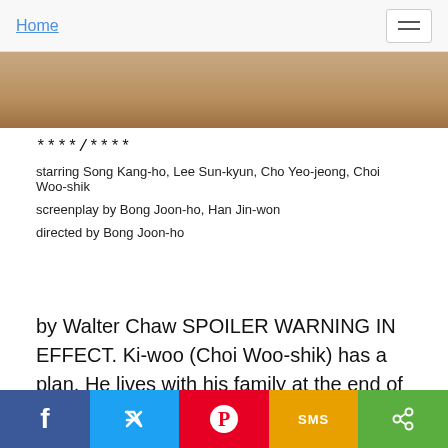Home
[Figure (photo): Partial image of a movie still, brownish/warm toned, cropped at top of content area]
****/****
starring Song Kang-ho, Lee Sun-kyun, Cho Yeo-jeong, Choi Woo-shik
screenplay by Bong Joon-ho, Han Jin-won
directed by Bong Joon-ho
by Walter Chaw SPOILER WARNING IN EFFECT. Ki-woo (Choi Woo-shik) has a plan. He lives with his family at the end of an alley on the bottom-level of a tri-level apartment building-- meaning they're halfway underground and the drunks have a tendency to pee right outside their windows. Ki-woo's dad, Ki-taek (Song Kang-ho), insists on leaving the windows open anyway. He likes the fresh air. Ki-woo's buddy Min (Park Seo-joon), a University kid as smooth as Ki-woo is rumpled, gives the family a large, decorative river rock mounted on a base. You
[Figure (infographic): Social share bar with Facebook (blue), Twitter (light blue), Pinterest (red), SMS (yellow/gold), Share (green) buttons]